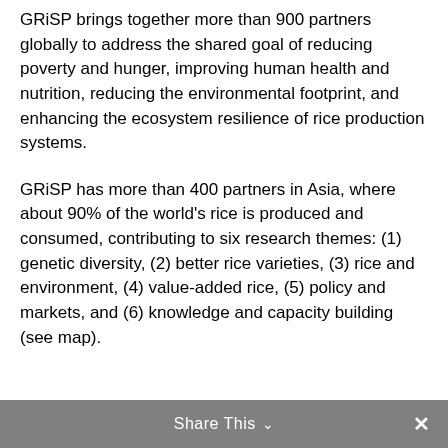GRiSP brings together more than 900 partners globally to address the shared goal of reducing poverty and hunger, improving human health and nutrition, reducing the environmental footprint, and enhancing the ecosystem resilience of rice production systems.
GRiSP has more than 400 partners in Asia, where about 90% of the world's rice is produced and consumed, contributing to six research themes: (1) genetic diversity, (2) better rice varieties, (3) rice and environment, (4) value-added rice, (5) policy and markets, and (6) knowledge and capacity building (see map).
Share This ∨  ✕